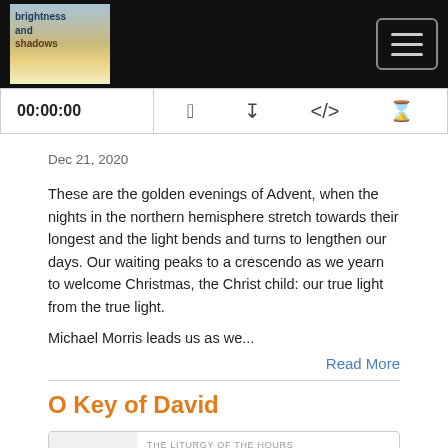[Figure (screenshot): Website navigation bar with 'brightness and shadows' logo on the left and hamburger menu icon on the right, dark/black background]
[Figure (screenshot): Podcast player bar showing 00:00:00 timestamp and media control icons]
Dec 21, 2020
These are the golden evenings of Advent, when the nights in the northern hemisphere stretch towards their longest and the light bends and turns to lengthen our days. Our waiting peaks to a crescendo as we yearn to welcome Christmas, the Christ child: our true light from the true light.
Michael Morris leads us as we...
Read More
O Key of David
[Figure (screenshot): Podcast player card showing play button on left, 'THE LITURGY OF THE HOURS' label, and 'O Key of David' title]